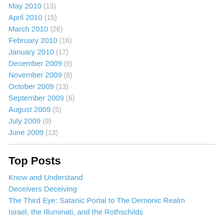May 2010 (13)
April 2010 (15)
March 2010 (26)
February 2010 (16)
January 2010 (17)
December 2009 (9)
November 2009 (8)
October 2009 (13)
September 2009 (6)
August 2009 (5)
July 2009 (9)
June 2009 (13)
Top Posts
Know and Understand
Deceivers Deceiving
The Third Eye: Satanic Portal to The Demonic Realm
Israel, the Illuminati, and the Rothschilds